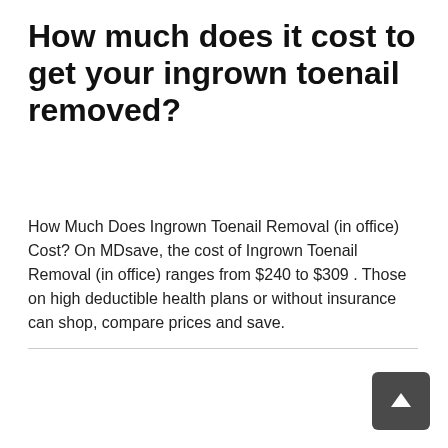How much does it cost to get your ingrown toenail removed?
How Much Does Ingrown Toenail Removal (in office) Cost? On MDsave, the cost of Ingrown Toenail Removal (in office) ranges from $240 to $309 . Those on high deductible health plans or without insurance can shop, compare prices and save.
[Figure (infographic): Social sharing buttons: Facebook (blue-purple), VK (blue-grey), Odnoklassniki (yellow), Google+ (orange), Twitter (cyan). A dark grey scroll-to-top arrow button in the bottom right.]